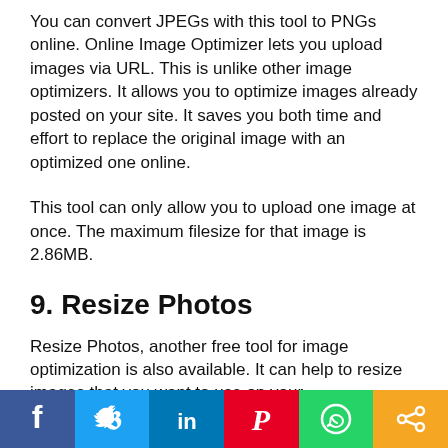You can convert JPEGs with this tool to PNGs online. Online Image Optimizer lets you upload images via URL. This is unlike other image optimizers. It allows you to optimize images already posted on your site. It saves you both time and effort to replace the original image with an optimized one online.
This tool can only allow you to upload one image at once. The maximum filesize for that image is 2.86MB.
9. Resize Photos
Resize Photos, another free tool for image optimization is also available. It can help to resize images that you want to use on your
[Figure (other): Social sharing bar with Facebook, Twitter, LinkedIn, Pinterest, WhatsApp, and Share buttons]